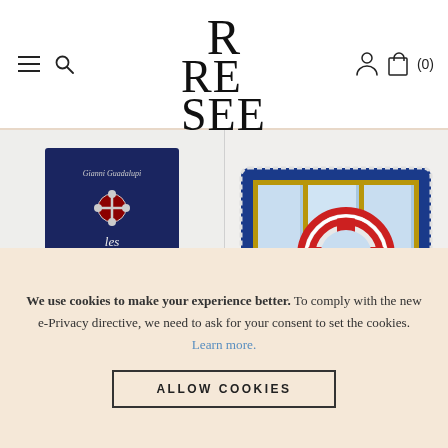RE SEE — navigation header with hamburger menu, search, logo, user icon, cart (0)
[Figure (photo): Book cover: 'les Grands Trésors' by Gianni Guadalupi, dark blue cover with jeweled cross and crown imagery]
[Figure (photo): Hermes silk scarf featuring nautical scene with lifesaver ring, sailboats, and window frame, blue border with rope detail]
We use cookies to make your experience better. To comply with the new e-Privacy directive, we need to ask for your consent to set the cookies. Learn more.
ALLOW COOKIES